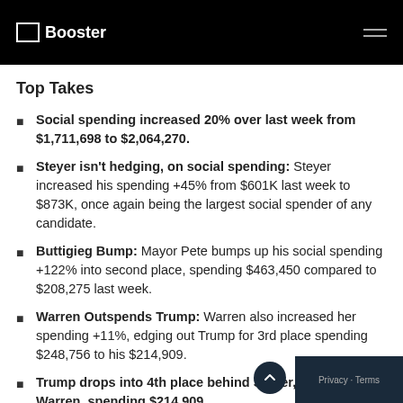Booster
Top Takes
Social spending increased 20% over last week from $1,711,698 to $2,064,270.
Steyer isn't hedging, on social spending: Steyer increased his spending +45% from $601K last week to $873K, once again being the largest social spender of any candidate.
Buttigieg Bump: Mayor Pete bumps up his social spending +122% into second place, spending $463,450 compared to $208,275 last week.
Warren Outspends Trump: Warren also increased her spending +11%, edging out Trump for 3rd place spending $248,756 to his $214,909.
Trump drops into 4th place behind Steyer, Buttigieg and Warren, spending $214,909.